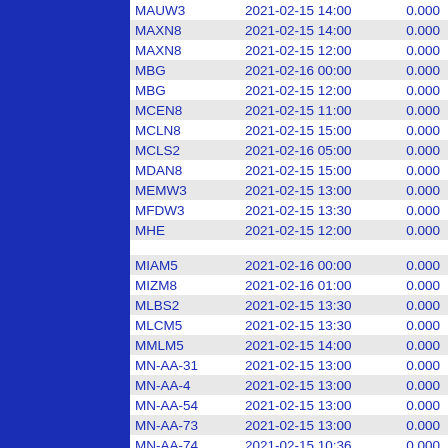| Name | DateTime | Val1 | Val2 |
| --- | --- | --- | --- |
| MAUW3 | 2021-02-15 14:00 | 0.000 | 24.000 |
| MAXN8 | 2021-02-15 14:00 | 0.000 | 24.000 |
| MAXN8 | 2021-02-15 12:00 | 0.000 | 24.000 |
| MBG | 2021-02-16 00:00 | 0.000 | 24.000 |
| MBG | 2021-02-15 12:00 | 0.000 | 24.000 |
| MCEN8 | 2021-02-15 11:00 | 0.000 | 24.000 |
| MCLN8 | 2021-02-15 15:00 | 0.000 | 24.000 |
| MCLS2 | 2021-02-16 05:00 | 0.000 | 24.000 |
| MDAN8 | 2021-02-15 15:00 | 0.000 | 24.000 |
| MEMW3 | 2021-02-15 13:00 | 0.000 | 24.000 |
| MFDW3 | 2021-02-15 13:30 | 0.000 | 24.000 |
| MHE | 2021-02-15 12:00 | 0.000 | 24.000 |
|  |  |  |  |
| MIAM5 | 2021-02-16 00:00 | 0.000 | 24.000 |
| MIZM8 | 2021-02-16 01:00 | 0.000 | 24.000 |
| MLBS2 | 2021-02-15 13:30 | 0.000 | 24.000 |
| MLCM5 | 2021-02-15 13:30 | 0.000 | 24.000 |
| MMLM5 | 2021-02-15 14:00 | 0.000 | 24.000 |
| MN-AA-31 | 2021-02-15 13:00 | 0.000 | 24.000 |
| MN-AA-4 | 2021-02-15 13:00 | 0.000 | 24.000 |
| MN-AA-54 | 2021-02-15 13:00 | 0.000 | 24.000 |
| MN-AA-73 | 2021-02-15 13:00 | 0.000 | 24.000 |
| MN-AA-74 | 2021-02-15 10:36 | 0.000 | 24.000 |
| MN-AA-75 | 2021-02-16 05:00 | 0.000 | 24.000 |
| MN-AA-76 | 2021-02-15 13:00 | 0.000 | 24.000 |
| MN-AA-85 | 2021-02-15 13:00 | 0.000 | 24.000 |
| MN-AA-87 | 2021-02-15 13:00 | 0.000 | 24.000 |
| MN-AA-90 | 2021-02-15 13:00 | 0.000 | 24.000 |
| MN-AA-9… | 2021-02-15 10:00 | 0.000 | 24.000 |